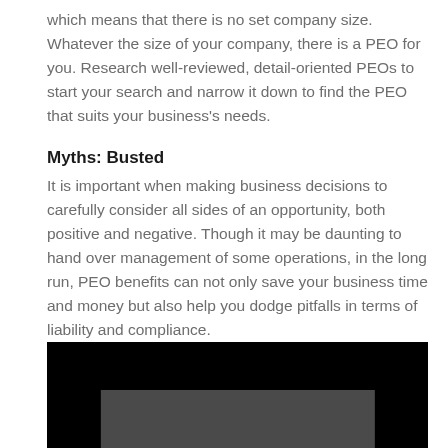which means that there is no set company size. Whatever the size of your company, there is a PEO for you. Research well-reviewed, detail-oriented PEOs to start your search and narrow it down to find the PEO that suits your business's needs.
Myths: Busted
It is important when making business decisions to carefully consider all sides of an opportunity, both positive and negative. Though it may be daunting to hand over management of some operations, in the long run, PEO benefits can not only save your business time and money but also help you dodge pitfalls in terms of liability and compliance.
[Figure (photo): A dark/black image block with a grey rectangular area visible at the bottom center, likely a partially visible video or photo thumbnail.]